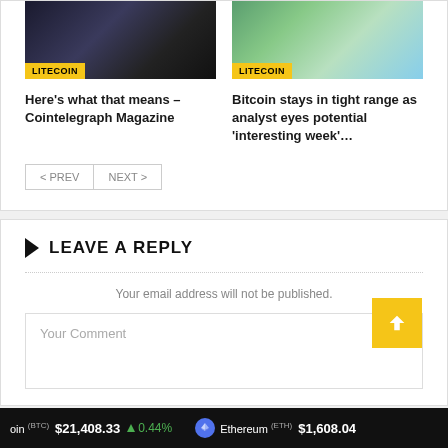[Figure (screenshot): Article thumbnail with LITECOIN badge - dark gaming scene]
[Figure (screenshot): Article thumbnail with LITECOIN badge - Bitcoin bear/bull cartoon]
Here's what that means – Cointelegraph Magazine
Bitcoin stays in tight range as analyst eyes potential 'interesting week'…
< PREV
NEXT >
LEAVE A REPLY
Your email address will not be published.
Your Comment
oin (BTC) $21,408.33 ↑ 0.44% Ethereum (ETH) $1,608.04